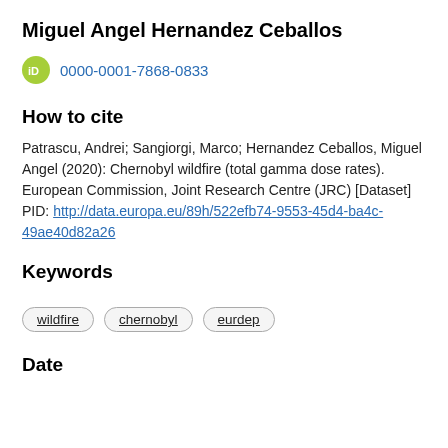Miguel Angel Hernandez Ceballos
[Figure (logo): ORCID iD icon (green circle with white 'iD' text) followed by ORCID link 0000-0001-7868-0833]
How to cite
Patrascu, Andrei; Sangiorgi, Marco; Hernandez Ceballos, Miguel Angel (2020): Chernobyl wildfire (total gamma dose rates). European Commission, Joint Research Centre (JRC) [Dataset] PID: http://data.europa.eu/89h/522efb74-9553-45d4-ba4c-49ae40d82a26
Keywords
wildfire
chernobyl
eurdep
Date